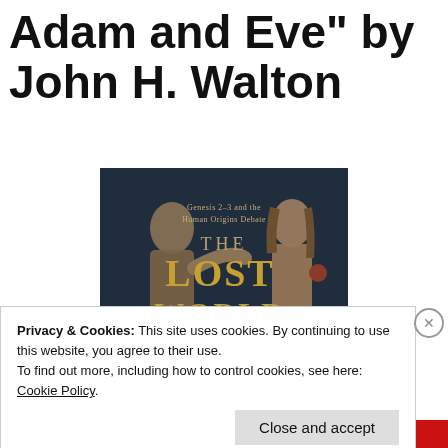Adam and Eve" by John H. Walton
[Figure (photo): Book cover of 'The Lost World of Adam and Eve' by John H. Walton, showing Genesis 2-3 and the Human Origins Debate, with stone relief figures of Adam and Eve]
Privacy & Cookies: This site uses cookies. By continuing to use this website, you agree to their use.
To find out more, including how to control cookies, see here: Cookie Policy
Close and accept